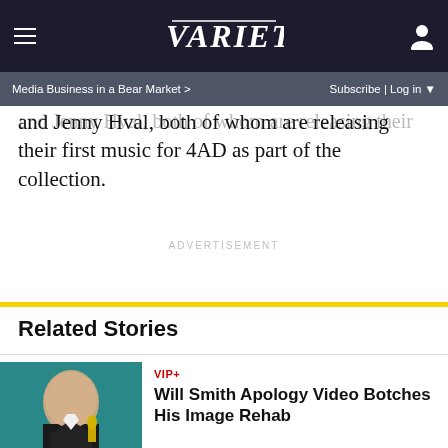VARIETY — Media Business in a Bear Market | Subscribe | Log in
and Jenny Hval, both of whom are releasing their first music for 4AD as part of the collection.
ADVERTISEMENT
Related Stories
VIP+
Will Smith Apology Video Botches His Image Rehab
[Figure (photo): Photo of Will Smith holding an award, teal background]
[Figure (photo): Concert photo with blue stage lighting, performer on stage]
Lil Baby Announces New Album 'It's Only Me' for October Release